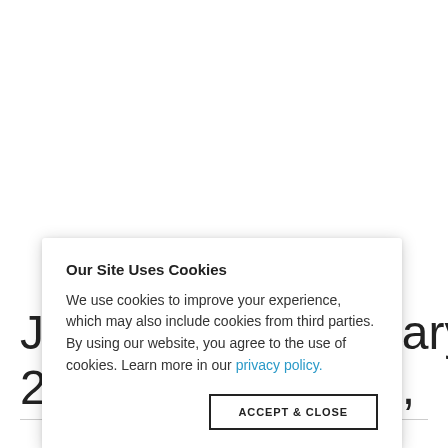[Figure (screenshot): White background page with a cookie consent modal overlay. Behind the modal, large text is partially visible reading 'J' and 'uary 4,' on one line and '2015' on the next line, with a horizontal rule below.]
Our Site Uses Cookies
We use cookies to improve your experience, which may also include cookies from third parties. By using our website, you agree to the use of cookies. Learn more in our privacy policy.
ACCEPT & CLOSE